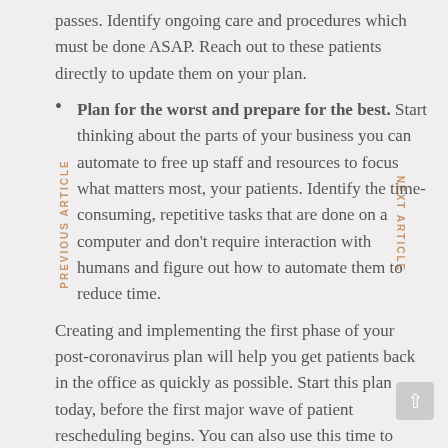passes. Identify ongoing care and procedures which must be done ASAP. Reach out to these patients directly to update them on your plan.
Plan for the worst and prepare for the best. Start thinking about the parts of your business you can automate to free up staff and resources to focus what matters most, your patients. Identify the time-consuming, repetitive tasks that are done on a computer and don't require interaction with humans and figure out how to automate them to reduce time.
Creating and implementing the first phase of your post-coronavirus plan will help you get patients back in the office as quickly as possible. Start this plan today, before the first major wave of patient rescheduling begins. You can also use this time to learn more about the tools Vital Interaction currently provides your team to help improve automation and further enhance patient care in the future.
PREVIOUS ARTICLE
NEXT ARTICLE